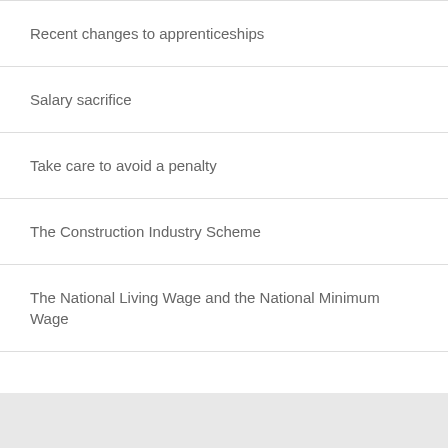Recent changes to apprenticeships
Salary sacrifice
Take care to avoid a penalty
The Construction Industry Scheme
The National Living Wage and the National Minimum Wage